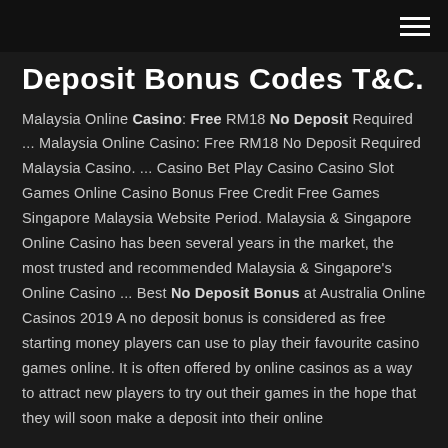≡ (hamburger menu icon)
Deposit Bonus Codes T&C.
Malaysia Online Casino: Free RM18 No Deposit Required ... Malaysia Online Casino: Free RM18 No Deposit Required Malaysia Casino. ... Casino Bet Play Casino Casino Slot Games Online Casino Bonus Free Credit Free Games Singapore Malaysia Website Period. Malaysia & Singapore Online Casino has been several years in the market, the most trusted and recommended Malaysia & Singapore's Online Casino ... Best No Deposit Bonus at Australia Online Casinos 2019 A no deposit bonus is considered as free starting money players can use to play their favourite casino games online. It is often offered by online casinos as a way to attract new players to try out their games in the hope that they will soon make a deposit into their online